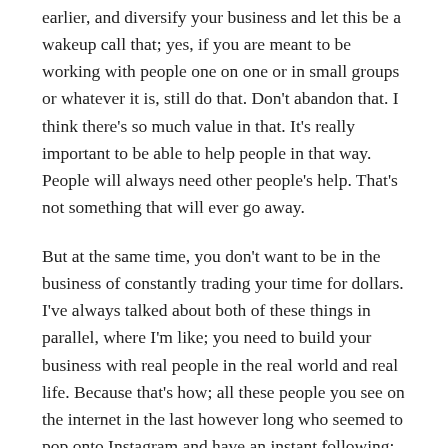earlier, and diversify your business and let this be a wakeup call that; yes, if you are meant to be working with people one on one or in small groups or whatever it is, still do that. Don't abandon that. I think there's so much value in that. It's really important to be able to help people in that way. People will always need other people's help. That's not something that will ever go away.
But at the same time, you don't want to be in the business of constantly trading your time for dollars. I've always talked about both of these things in parallel, where I'm like; you need to build your business with real people in the real world and real life. Because that's how; all these people you see on the internet in the last however long who seemed to pop onto Instagram and have an instant following; it didn't just grow organically. It's like suddenly there's all these people. No, no. They had actually done things in the real world, and then those people came and followed them online. Different from what